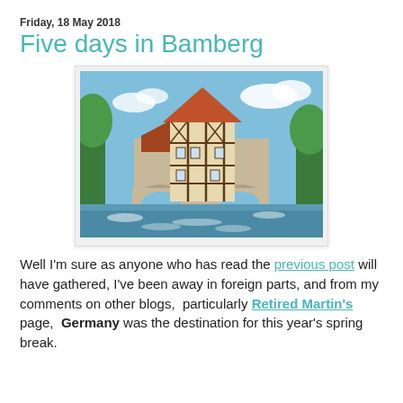Friday, 18 May 2018
Five days in Bamberg
[Figure (photo): Photograph of a historic half-timbered building (Old Town Hall of Bamberg) sitting on a bridge over a rushing river, with trees and blue sky in the background.]
Well I'm sure as anyone who has read the previous post will have gathered, I've been away in foreign parts, and from my comments on other blogs,  particularly Retired Martin's page,  Germany was the destination for this year's spring break.